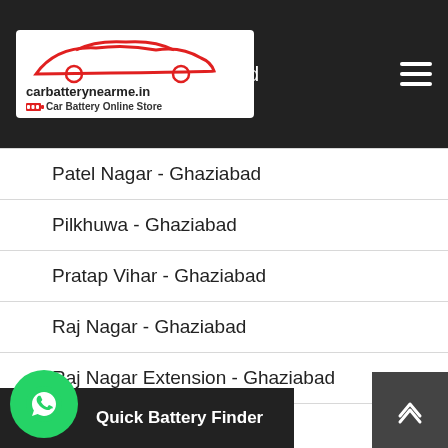carbatterynearme.in Car Battery Online Store — header with logo and hamburger menu
Patel Nagar - Ghaziabad
Pilkhuwa - Ghaziabad
Pratap Vihar - Ghaziabad
Raj Nagar - Ghaziabad
Raj Nagar Extension - Ghaziabad
Rajendra Nagar - Ghaziabad
Quick Battery Finder